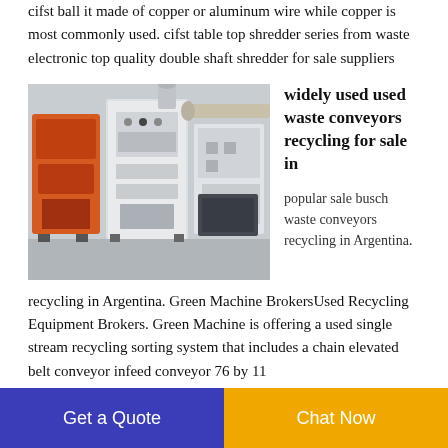cifst ball it made of copper or aluminum wire while copper is most commonly used. cifst table top shredder series from waste electronic top quality double shaft shredder for sale suppliers
[Figure (photo): Industrial recycling machinery including shredders and conveyor equipment in a warehouse/factory setting]
widely used used waste conveyors recycling for sale in
popular sale busch waste conveyors recycling in Argentina. Green Machine BrokersUsed Recycling Equipment Brokers. Green Machine is offering a used single stream recycling sorting system that includes a chain elevated belt conveyor infeed conveyor 76 by 11
Get a Quote
Chat Now